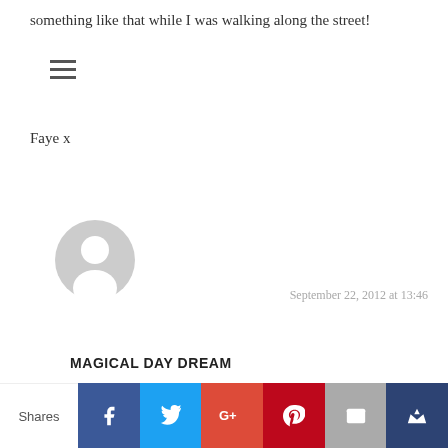something like that while I was walking along the street!
[Figure (other): Hamburger menu icon with three horizontal lines]
Faye x
[Figure (other): Grey default user avatar circle]
September 22, 2012 at 13:46
MAGICAL DAY DREAM
Yeah I can worry a lot about my school projects too. I do think I am getting better at letting go though.. But it takes a lot of practice!
[Figure (other): Partial grey default user avatar circle at bottom]
Shares | Facebook | Twitter | Google+ | Pinterest | Email | Crown